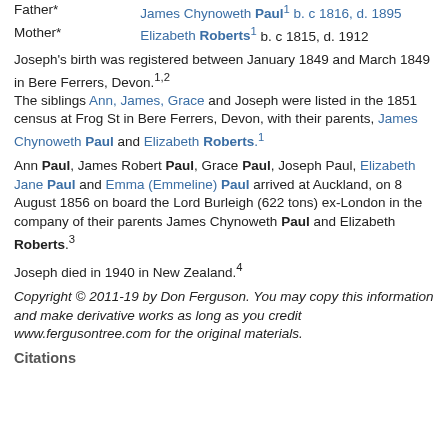| Father* | James Chynoweth Paul¹ b. c 1816, d. 1895 |
| Mother* | Elizabeth Roberts¹ b. c 1815, d. 1912 |
Joseph's birth was registered between January 1849 and March 1849 in Bere Ferrers, Devon.¹˒² The siblings Ann, James, Grace and Joseph were listed in the 1851 census at Frog St in Bere Ferrers, Devon, with their parents, James Chynoweth Paul and Elizabeth Roberts.¹
Ann Paul, James Robert Paul, Grace Paul, Joseph Paul, Elizabeth Jane Paul and Emma (Emmeline) Paul arrived at Auckland, on 8 August 1856 on board the Lord Burleigh (622 tons) ex-London in the company of their parents James Chynoweth Paul and Elizabeth Roberts.³
Joseph died in 1940 in New Zealand.⁴
Copyright © 2011-19 by Don Ferguson. You may copy this information and make derivative works as long as you credit www.fergusontree.com for the original materials.
Citations